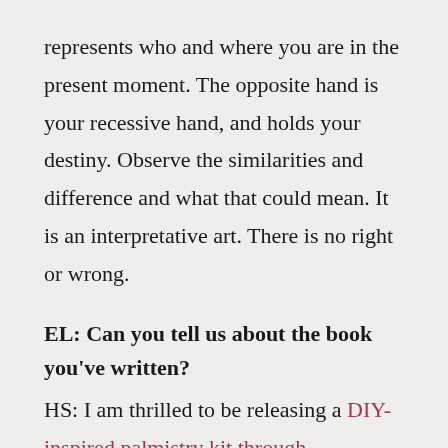represents who and where you are in the present moment. The opposite hand is your recessive hand, and holds your destiny. Observe the similarities and difference and what that could mean. It is an interpretative art. There is no right or wrong.
EL: Can you tell us about the book you've written?
HS: I am thrilled to be releasing a DIY-inspired palmistry kit through HarperCollins Design in October 2019. The Handful of Stars